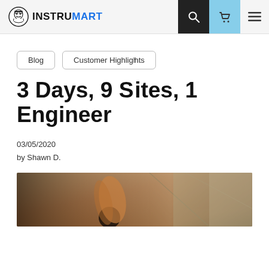INSTRUMART
Blog
Customer Highlights
3 Days, 9 Sites, 1 Engineer
03/05/2020
by Shawn D.
[Figure (photo): Close-up photo of an engineer's hand holding an instrument, taken in an industrial setting]